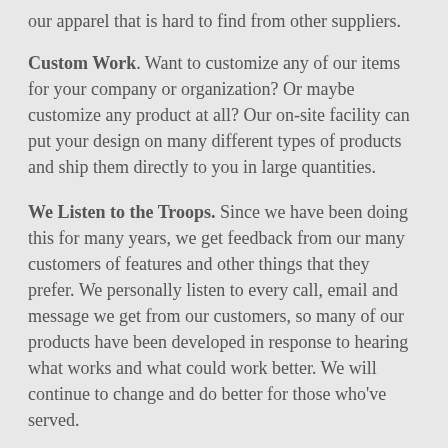our apparel that is hard to find from other suppliers.
Custom Work. Want to customize any of our items for your company or organization? Or maybe customize any product at all? Our on-site facility can put your design on many different types of products and ship them directly to you in large quantities.
We Listen to the Troops. Since we have been doing this for many years, we get feedback from our many customers of features and other things that they prefer. We personally listen to every call, email and message we get from our customers, so many of our products have been developed in response to hearing what works and what could work better. We will continue to change and do better for those who've served.
Variety. Some military retailers only have a few items. We have a huge selection of military branded shirts, caps, jacket, hoodies and more that have been developed over our years of business. If we don't have it, maybe we can make it or get it for you.